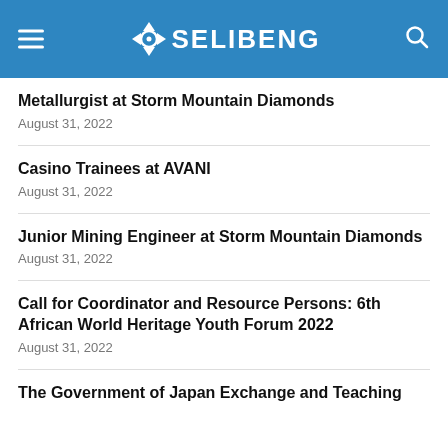OSELIBENG
Metallurgist at Storm Mountain Diamonds
August 31, 2022
Casino Trainees at AVANI
August 31, 2022
Junior Mining Engineer at Storm Mountain Diamonds
August 31, 2022
Call for Coordinator and Resource Persons: 6th African World Heritage Youth Forum 2022
August 31, 2022
The Government of Japan Exchange and Teaching